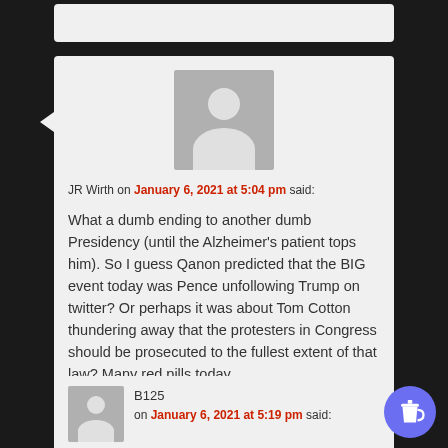JR Wirth on January 6, 2021 at 5:04 pm said:
What a dumb ending to another dumb Presidency (until the Alzheimer's patient tops him). So I guess Qanon predicted that the BIG event today was Pence unfollowing Trump on twitter? Or perhaps it was about Tom Cotton thundering away that the protesters in Congress should be prosecuted to the fullest extent of that law? Many red pills today.
B125 on January 6, 2021 at 5:19 pm said: